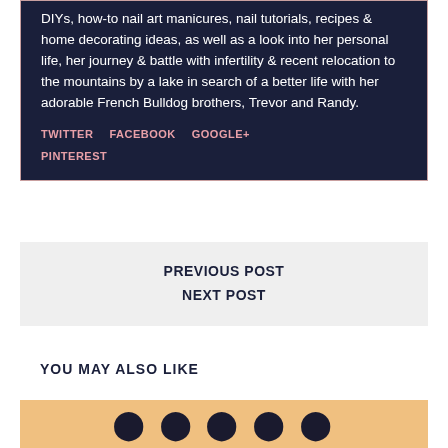DIYs, how-to nail art manicures, nail tutorials, recipes & home decorating ideas, as well as a look into her personal life, her journey & battle with infertility & recent relocation to the mountains by a lake in search of a better life with her adorable French Bulldog brothers, Trevor and Randy.
TWITTER  FACEBOOK  GOOGLE+  PINTEREST
PREVIOUS POST
NEXT POST
YOU MAY ALSO LIKE